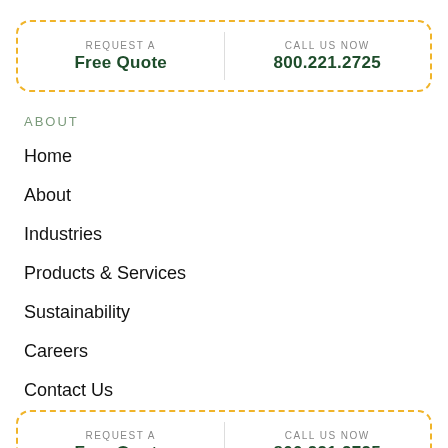REQUEST A Free Quote | CALL US NOW 800.221.2725
ABOUT
Home
About
Industries
Products & Services
Sustainability
Careers
Contact Us
REQUEST A Free Quote | CALL US NOW 800.221.2725
© 2022 Crown Uniform - All Rights Reserved